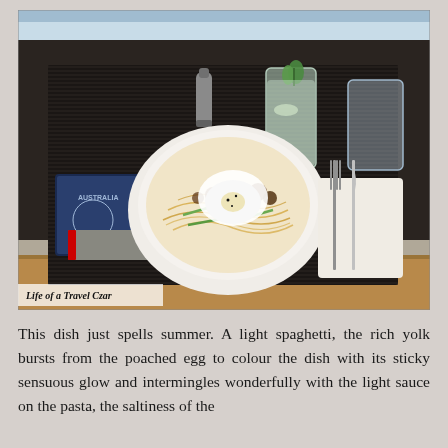[Figure (photo): A restaurant table setting with a bowl of spaghetti pasta topped with a poached egg and garnishes, alongside an Australian passport, a salt shaker, a cocktail with mint, a glass of water, a fork and knife on a folded napkin, all on a dark woven placemat. Caption reads 'Life of a Travel Czar'.]
Life of a Travel Czar
This dish just spells summer. A light spaghetti, the rich yolk bursts from the poached egg to colour the dish with its sticky sensuous glow and intermingles wonderfully with the light sauce on the pasta, the saltiness of the